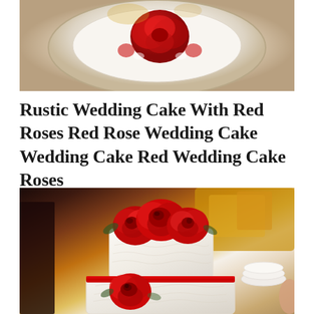[Figure (photo): Top-down view of a rustic wedding cake with red roses on a round plate or board, showing the top tier decorated with red rose flowers]
Rustic Wedding Cake With Red Roses Red Rose Wedding Cake Wedding Cake Red Wedding Cake Roses
[Figure (photo): Close-up photo of a white two-tiered wedding cake decorated with large red sugar roses on top and around the middle tier, with a red ribbon between tiers. Background shows blurred food and people at what appears to be a wedding reception.]